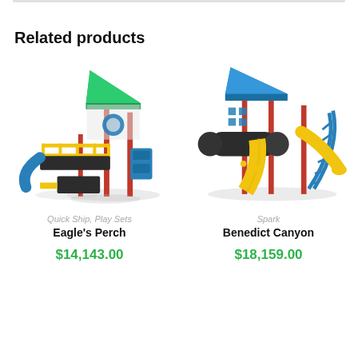Related products
[Figure (photo): Playground equipment called Eagle's Perch with green roof, red poles, blue slide, yellow rails, and dark climbing structure]
Quick Ship, Play Sets
Eagle's Perch
$14,143.00
[Figure (photo): Playground equipment called Benedict Canyon with blue roof, red poles, yellow slide, blue climbing arch, and dark platform]
Spark
Benedict Canyon
$18,159.00